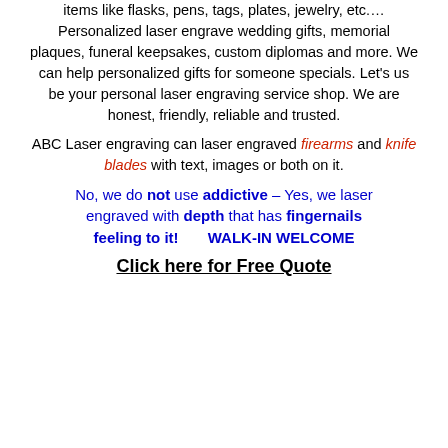items like flasks, pens, tags, plates, jewelry, etc.… Personalized laser engrave wedding gifts, memorial plaques, funeral keepsakes, custom diplomas and more. We can help personalized gifts for someone specials. Let's us be your personal laser engraving service shop. We are honest, friendly, reliable and trusted.
ABC Laser engraving can laser engraved firearms and knife blades with text, images or both on it.
No, we do not use addictive – Yes, we laser engraved with depth that has fingernails feeling to it!        WALK-IN WELCOME
Click here for Free Quote